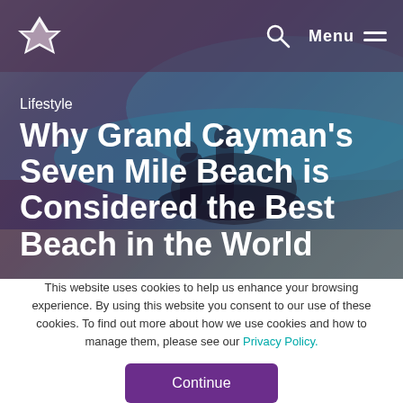Menu
[Figure (photo): Hero background image of people on a jet ski at Grand Cayman's Seven Mile Beach, with turquoise ocean water visible]
Lifestyle
Why Grand Cayman's Seven Mile Beach is Considered the Best Beach in the World
This website uses cookies to help us enhance your browsing experience. By using this website you consent to our use of these cookies. To find out more about how we use cookies and how to manage them, please see our Privacy Policy.
Continue